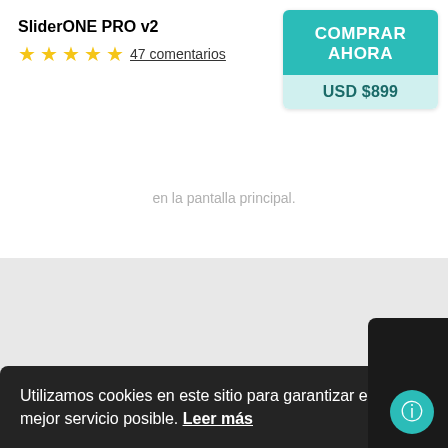SliderONE PRO v2
47 comentarios
COMPRAR AHORA
USD $899
en la pantalla principal.
[Figure (screenshot): Gray background section with product image partially visible at bottom]
Utilizamos cookies en este sitio para garantizar el mejor servicio posible. Leer más